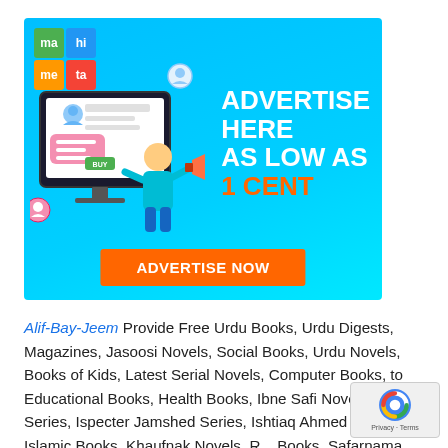[Figure (infographic): Advertisement banner with cyan/blue background. Top-left shows a 2x2 logo grid (ma/hi/me/ta in green, blue, orange, red). Center-left shows an illustration of a person with a megaphone in front of a screen. Right side shows white bold text 'ADVERTISE HERE AS LOW AS' and orange bold text '1 CENT'. Bottom center has an orange button labeled 'ADVERTISE NOW'.]
Alif-Bay-Jeem Provide Free Urdu Books, Urdu Digests, Magazines, Jasoosi Novels, Social Books, Urdu Novels, Books of Kids, Latest Serial Novels, Computer Books, to Educational Books, Health Books, Ibne Safi Novels, Imran Series, Ispecter Jamshed Series, Ishtiaq Ahmed Novels, Islamic Books, Khaufnak Novels, R... Books, Safarnama Books, Tanz-o-Mazah Books, Funny B... and All Kind of Urdu Books....